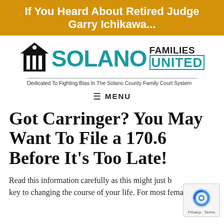If You Heard About Retired Judge Garry Ichikawa...
[Figure (logo): Solano Families United logo with courthouse icon, teal SOLANO text, black FAMILIES and teal UNITED text, tagline: Dedicated To Fighting Bias In The Solano County Family Court System]
MENU
Got Carringer? You May Want To File a 170.6 Before It's Too Late!
Read this information carefully as this might just be the key to changing the course of your life. For most female